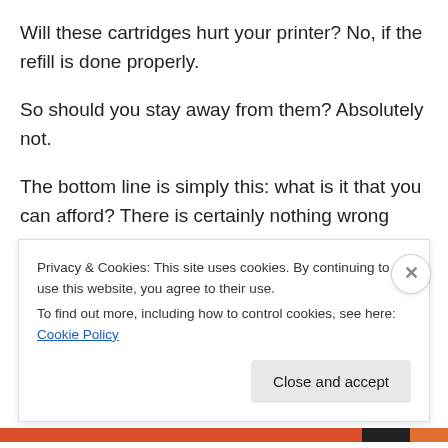Will these cartridges hurt your printer? No, if the refill is done properly.
So should you stay away from them? Absolutely not.
The bottom line is simply this: what is it that you can afford? There is certainly nothing wrong with sticking to brand-name cartridges if you can very well afford them. But should you feel you cannot, then the next best thing is certainly not a bad option at all.
Still think it isn’t worth it to at least try these 3rd party inks
Privacy & Cookies: This site uses cookies. By continuing to use this website, you agree to their use.
To find out more, including how to control cookies, see here: Cookie Policy